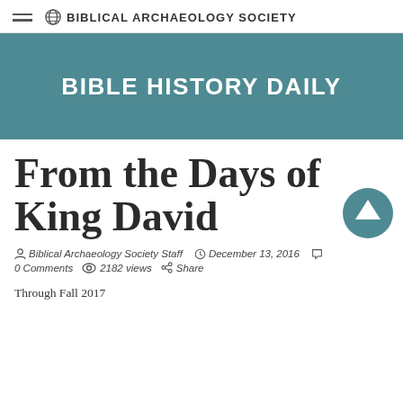BIBLICAL ARCHAEOLOGY SOCIETY
[Figure (logo): Bible History Daily banner with teal background and white bold text]
From the Days of King David
Biblical Archaeology Society Staff   December 13, 2016   0 Comments   2182 views   Share
Through Fall 2017